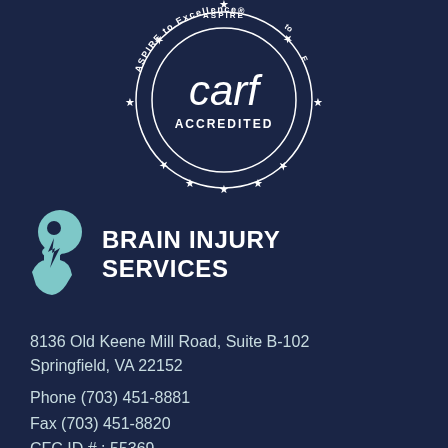[Figure (logo): CARF Accredited logo — circular seal with stars, text 'ASPIRE to Excellence' around the border and 'carf ACCREDITED' in the center, white on dark navy background]
[Figure (logo): Brain Injury Services logo — teal stylized head profile icon alongside bold white text 'BRAIN INJURY SERVICES']
8136 Old Keene Mill Road, Suite B-102
Springfield, VA 22152
Phone (703) 451-8881
Fax (703) 451-8820
CFC ID # : 55369